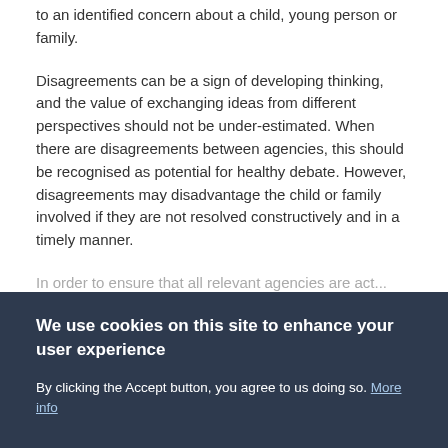to an identified concern about a child, young person or family.
Disagreements can be a sign of developing thinking, and the value of exchanging ideas from different perspectives should not be under-estimated. When there are disagreements between agencies, this should be recognised as potential for healthy debate. However, disagreements may disadvantage the child or family involved if they are not resolved constructively and in a timely manner.
In order to ensure that all relevant...
We use cookies on this site to enhance your user experience
By clicking the Accept button, you agree to us doing so. More info